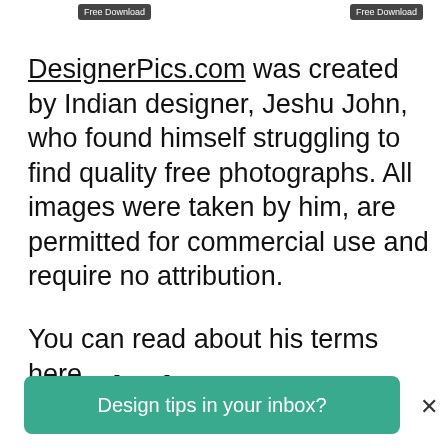Free Download   Free Download
DesignerPics.com was created by Indian designer, Jeshu John, who found himself struggling to find quality free photographs. All images were taken by him, are permitted for commercial use and require no attribution.
You can read about his terms here.
20. Pixabay
Design tips in your inbox?